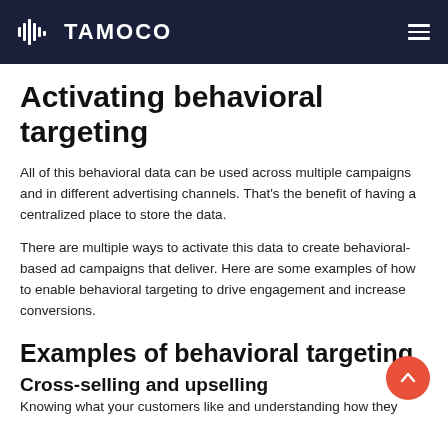TAMOCO
Activating behavioral targeting
All of this behavioral data can be used across multiple campaigns and in different advertising channels. That's the benefit of having a centralized place to store the data.
There are multiple ways to activate this data to create behavioral-based ad campaigns that deliver. Here are some examples of how to enable behavioral targeting to drive engagement and increase conversions.
Examples of behavioral targeting
Cross-selling and upselling
Knowing what your customers like and understanding how they